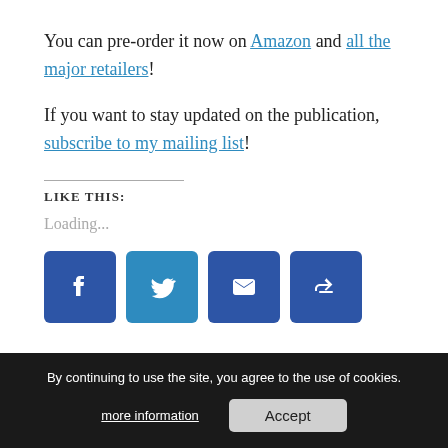You can pre-order it now on Amazon and all the major retailers!
If you want to stay updated on the publication, subscribe to my mailing list!
LIKE THIS:
Loading...
[Figure (infographic): Social share buttons: Facebook, Twitter, Email, Share]
By continuing to use the site, you agree to the use of cookies. more information | Accept
Tags: Blurb, Chick Lit, Excerpt, Novel, Publication, Romance